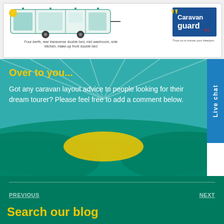[Figure (illustration): Caravan floor plan illustration showing a four-berth layout with rear transverse double bed, mid washroom, side kitchen, make-up front double bed. Caravan Guard logo shown to the right.]
Four-berth, rear transverse double bed, mid washroom, side kitchen, make-up front double bed
Over to you...
Got any caravan layout advice to people looking for their dream tourer? Please feel free to add a comment below.
PREVIOUS
NEXT
Search our blog